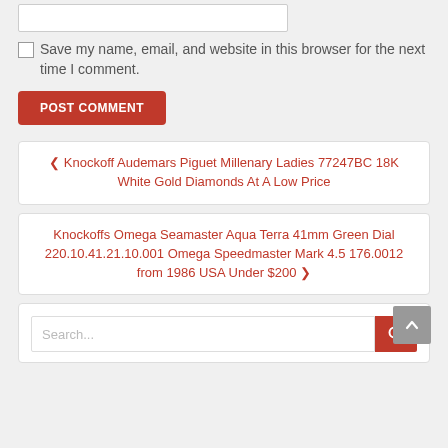[Figure (screenshot): Website text input field (empty, white background)]
[Figure (screenshot): Checkbox (unchecked) next to save comment info label]
Save my name, email, and website in this browser for the next time I comment.
[Figure (screenshot): POST COMMENT red button]
< Knockoff Audemars Piguet Millenary Ladies 77247BC 18K White Gold Diamonds At A Low Price
Knockoffs Omega Seamaster Aqua Terra 41mm Green Dial 220.10.41.21.10.001 Omega Speedmaster Mark 4.5 176.0012 from 1986 USA Under $200 >
[Figure (screenshot): Search input field with red search button and grey back-to-top button]